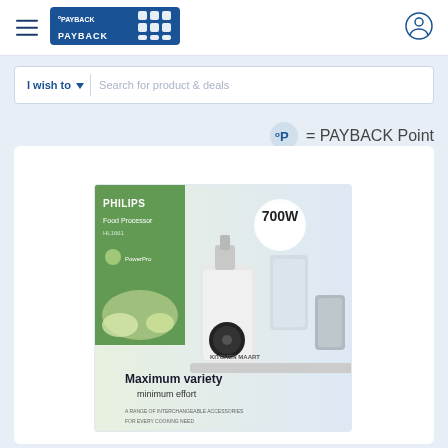PAYBACK — navigation header with hamburger menu, PAYBACK logo, and user icon
I wish to ▾   Search for product & deals
ºP  = PAYBACK Point
[Figure (photo): Philips Food Processor product box image showing 700W food processor with text 'Maximum variety minimum effort'. Kitchen Mart branding visible.]